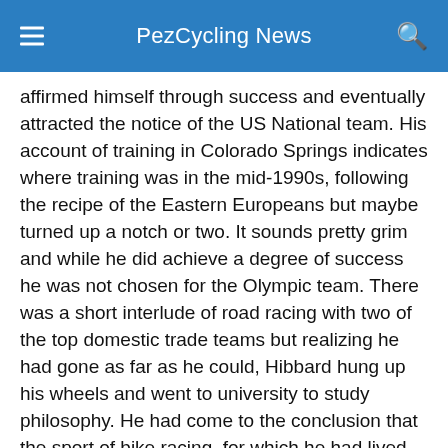PezCycling News
affirmed himself through success and eventually attracted the notice of the US National team. His account of training in Colorado Springs indicates where training was in the mid-1990s, following the recipe of the Eastern Europeans but maybe turned up a notch or two. It sounds pretty grim and while he did achieve a degree of success he was not chosen for the Olympic team. There was a short interlude of road racing with two of the top domestic trade teams but realizing he had gone as far as he could, Hibbard hung up his wheels and went to university to study philosophy. He had come to the conclusion that the sport of bike racing, for which he had lived, was irredeemably corrupt.
Philosophy?! When one’s life is totally consumed by cycling, by training, by obsession about food, by equipment, this seems like an odd direction to go. The author and his father had talked about philosophy, which clearly made a major childhood impression on him, and he sought answers to life’s mysteries through Western philosophy, only to discover its limits. Yet, the